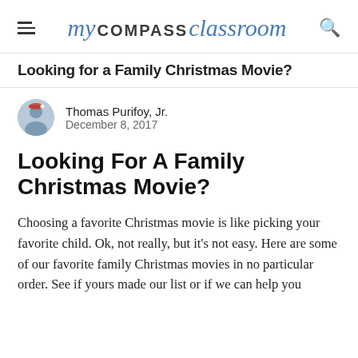my COMPASS classroom
Looking for a Family Christmas Movie?
Thomas Purifoy, Jr.
December 8, 2017
Looking For A Family Christmas Movie?
Choosing a favorite Christmas movie is like picking your favorite child. Ok, not really, but it's not easy. Here are some of our favorite family Christmas movies in no particular order. See if yours made our list or if we can help you